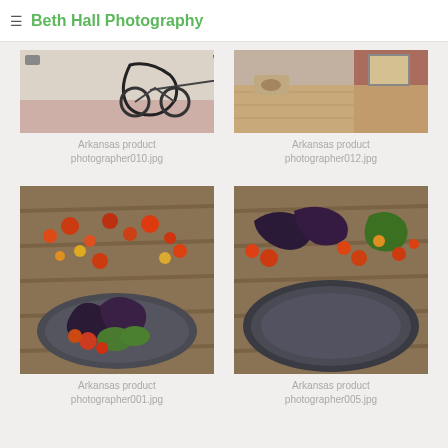≡ Beth Hall Photography
[Figure (photo): Arkansas product photographer010.jpg – kitchen/bike scene]
Arkansas product
photographer010.jpg
[Figure (photo): Arkansas product photographer012.jpg – table/furniture scene]
Arkansas product
photographer012.jpg
[Figure (photo): Arkansas product photographer001.jpg – vegetables on dark plate on wooden table]
Arkansas product
photographer001.jpg
[Figure (photo): Arkansas product photographer005.jpg – empty dark plate on wooden table with vegetables]
Arkansas product
photographer005.jpg